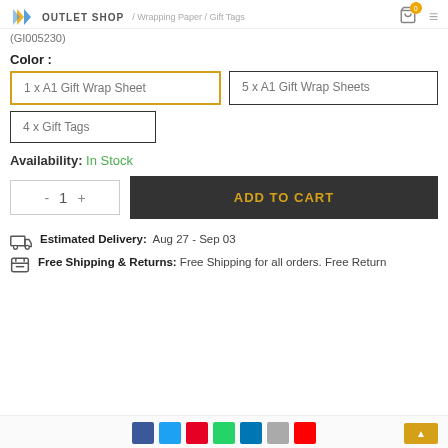OUTLET SHOP / Wrapping Paper / Gift Tags (GI005230)
Color :
1 x A1 Gift Wrap Sheet
5 x A1 Gift Wrap Sheets
4 x Gift Tags
Availability: In Stock
- 1 +  ADD TO CART
Estimated Delivery: Aug 27 - Sep 03
Free Shipping & Returns: Free Shipping for all orders. Free Return